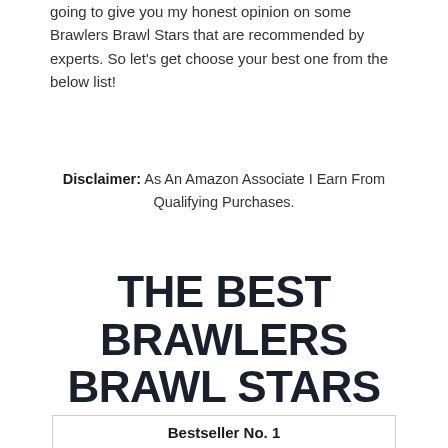going to give you my honest opinion on some Brawlers Brawl Stars that are recommended by experts. So let's get choose your best one from the below list!
Disclaimer: As An Amazon Associate I Earn From Qualifying Purchases.
THE BEST BRAWLERS BRAWL STARS COMPARISONS CHART
Bestseller No. 1